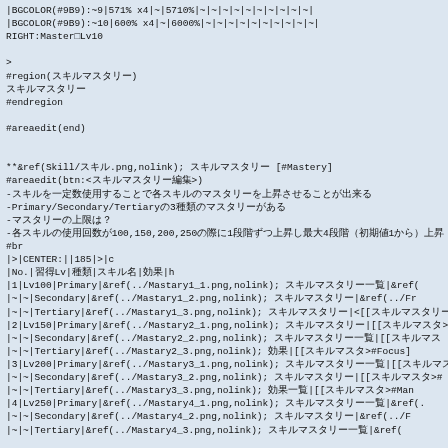|BGCOLOR(#9B9):~9|571% x4|~|5710%|~|~|~|~|~|~|~|~|~|~|
|BGCOLOR(#9B9):~10|600% x4|~|6000%|~|~|~|~|~|~|~|~|~|~|
RIGHT:Master Lv10

>
#region(スキルマスタリー)
スキルマスタリー
#endregion

#areaedit(end)


**&ref(Skill/スキル.png,nolink); スキルマスタリー [#Mastery]
#areaedit(btn:<スキルマスタリー編集>)
-スキルを一定数使用することで各スキルのマスタリーを上昇させることが出来る
-Primary/Secondary/Tertiary の3種類のマスタリーがある
-マスタリーの上限は？
-各スキルの使用回数が100,150,200,250の際に1段階ずつ上昇し最大4段階（初期値1から）上昇
#br
|>|CENTER:||185|>|c
|No.|習得Lv|種類|スキル名|効果|h
|1|Lv100|Primary|&ref(../Mastary1_1.png,nolink); スキルマスタリー一覧|&ref(
|~|~|Secondary|&ref(../Mastary1_2.png,nolink); スキルマスタリー|&ref(../Fr
|~|~|Tertiary|&ref(../Mastary1_3.png,nolink); スキルマスタリー|<[[スキルマスタリー一覧
|2|Lv150|Primary|&ref(../Mastary2_1.png,nolink); スキルマスタリー|[[スキルマスタ>
|~|~|Secondary|&ref(../Mastary2_2.png,nolink); スキルマスタリー一覧|[[スキルマス
|~|~|Tertiary|&ref(../Mastary2_3.png,nolink); 効果|[[スキルマスタ>#Focus]
|3|Lv200|Primary|&ref(../Mastary3_1.png,nolink); スキルマスタリー一覧|[[スキルマスタ
|~|~|Secondary|&ref(../Mastary3_2.png,nolink); スキルマスタリー|[[スキルマスタ>#
|~|~|Tertiary|&ref(../Mastary3_3.png,nolink); 効果一覧|[[スキルマスタ>#Man
|4|Lv250|Primary|&ref(../Mastary4_1.png,nolink); スキルマスタリー一覧|&ref(.
|~|~|Secondary|&ref(../Mastary4_2.png,nolink); スキルマスタリー|&ref(../F
|~|~|Tertiary|&ref(../Mastary4_3.png,nolink); スキルマスタリー一覧|&ref(